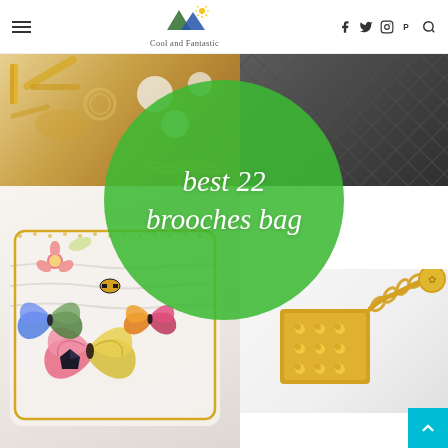Cool and Fantastic
[Figure (photo): Blog header image collage showing brooches and bags with a green circle overlay reading 'best 22 brooches bag']
best 22 brooches bag